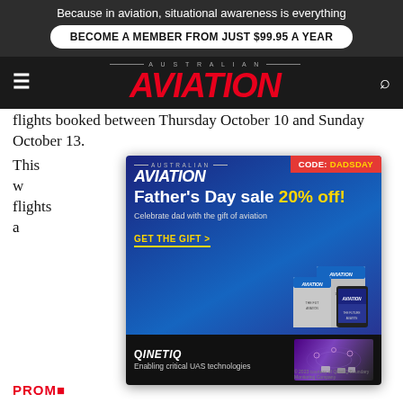Because in aviation, situational awareness is everything
BECOME A MEMBER FROM JUST $99.95 A YEAR
[Figure (logo): Australian Aviation logo with red italic AVIATION masthead]
flights booked between Thursday October 10 and Sunday October 13.
[Figure (infographic): Australian Aviation Father's Day sale advertisement popup. CODE: DADSDAY. Father's Day sale 20% off! Celebrate dad with the gift of aviation. GET THE GIFT >. Shows aviation magazine covers.]
This w... dome... haul flights... Hong Kong a...
PROM
[Figure (infographic): QinetiQ advertisement: Enabling critical UAS technologies, showing drone imagery]
In September, Virgin Australia told the Australian